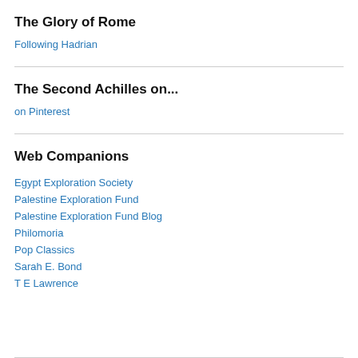The Glory of Rome
Following Hadrian
The Second Achilles on...
on Pinterest
Web Companions
Egypt Exploration Society
Palestine Exploration Fund
Palestine Exploration Fund Blog
Philomoria
Pop Classics
Sarah E. Bond
T E Lawrence